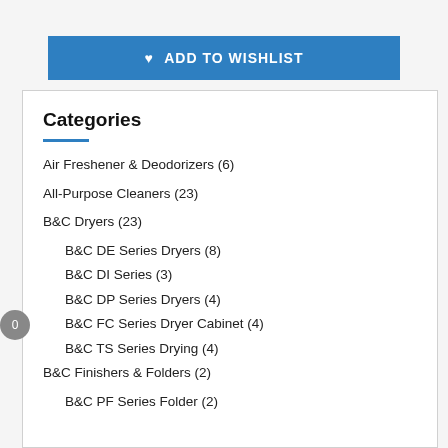[Figure (other): Blue 'ADD TO WISHLIST' button with heart icon]
Categories
Air Freshener & Deodorizers (6)
All-Purpose Cleaners (23)
B&C Dryers (23)
B&C DE Series Dryers (8)
B&C DI Series (3)
B&C DP Series Dryers (4)
B&C FC Series Dryer Cabinet (4)
B&C TS Series Drying (4)
B&C Finishers & Folders (2)
B&C PF Series Folder (2)